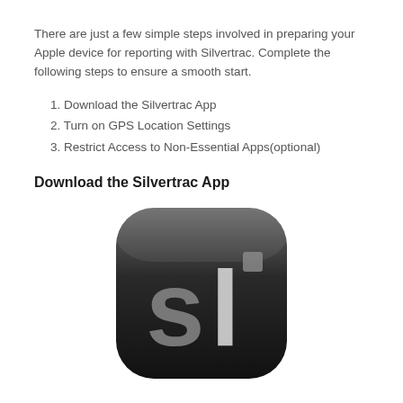There are just a few simple steps involved in preparing your Apple device for reporting with Silvertrac. Complete the following steps to ensure a smooth start.
1. Download the Silvertrac App
2. Turn on GPS Location Settings
3. Restrict Access to Non-Essential Apps(optional)
Download the Silvertrac App
[Figure (logo): Silvertrac app icon — dark rounded square with 'sl' letters in grey and a small grey square dot, resembling an iOS app icon]